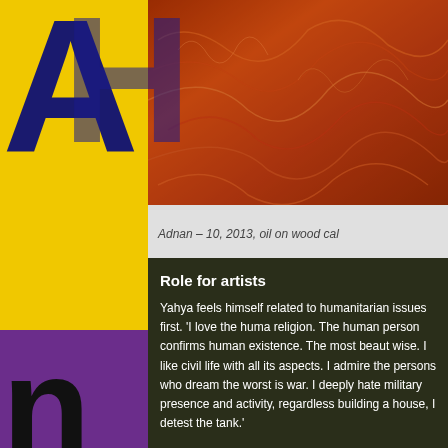[Figure (photo): Close-up photo of textured reddish-brown wood calligraphy artwork]
Adnan – 10, 2013, oil on wood cal
Role for artists
Yahya feels himself related to humanitarian issues first. 'I love the huma religion. The human person confirms human existence. The most beaut wise. I like civil life with all its aspects. I admire the persons who dream the worst is war. I deeply hate military presence and activity, regardless building a house, I detest the tank.'
[Figure (photo): Dark green artwork with gold calligraphic text reading 'Gibran Khalil Gibran']